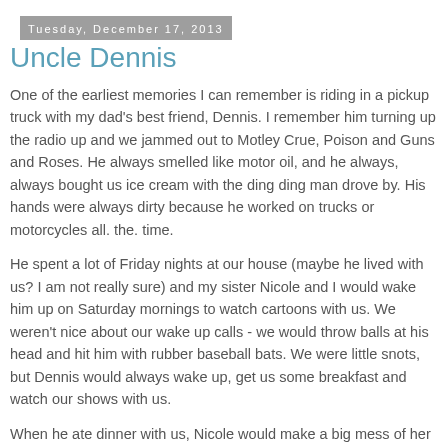Tuesday, December 17, 2013
Uncle Dennis
One of the earliest memories I can remember is riding in a pickup truck with my dad's best friend, Dennis. I remember him turning up the radio up and we jammed out to Motley Crue, Poison and Guns and Roses. He always smelled like motor oil, and he always, always bought us ice cream with the ding ding man drove by. His hands were always dirty because he worked on trucks or motorcycles all. the. time.
He spent a lot of Friday nights at our house (maybe he lived with us? I am not really sure) and my sister Nicole and I would wake him up on Saturday mornings to watch cartoons with us. We weren't nice about our wake up calls - we would throw balls at his head and hit him with rubber baseball bats. We were little snots, but Dennis would always wake up, get us some breakfast and watch our shows with us.
When he ate dinner with us, Nicole would make a big mess of her food, adding ketchup where it didn't belong and mixing everything together. Dennis would let her concoct the most...